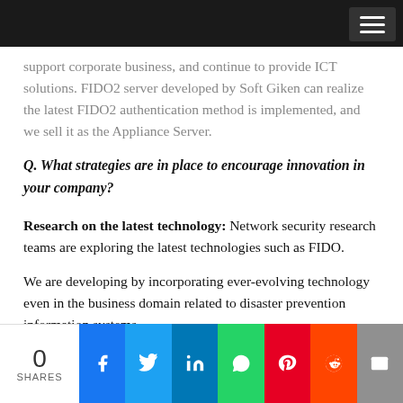support corporate business, and continue to provide ICT solutions. FIDO2 server developed by Soft Giken can realize the latest FIDO2 authentication method is implemented, and we sell it as the Appliance Server.
Q. What strategies are in place to encourage innovation in your company?
Research on the latest technology: Network security research teams are exploring the latest technologies such as FIDO.
We are developing by incorporating ever-evolving technology even in the business domain related to disaster prevention information systems.
0 SHARES | Social share icons: Facebook, Twitter, LinkedIn, WhatsApp, Pinterest, Reddit, Email